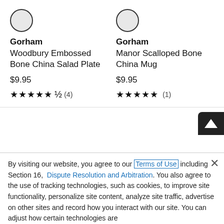[Figure (other): Product image placeholder circle for Gorham Woodbury Embossed Bone China Salad Plate]
Gorham
Woodbury Embossed Bone China Salad Plate
$9.95
★★★★★½ (4)
[Figure (other): Product image placeholder circle for Gorham Manor Scalloped Bone China Mug]
Gorham
Manor Scalloped Bone China Mug
$9.95
★★★★★ (1)
By visiting our website, you agree to our Terms of Use including Section 16, Dispute Resolution and Arbitration. You also agree to the use of tracking technologies, such as cookies, to improve site functionality, personalize site content, analyze site traffic, advertise on other sites and record how you interact with our site. You can adjust how certain technologies are